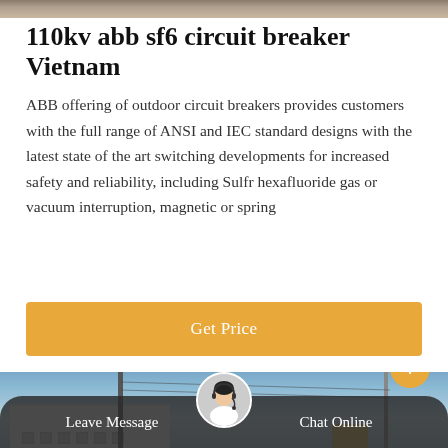[Figure (photo): Top banner photo strip — outdoor industrial/electrical substation scene]
110kv abb sf6 circuit breaker Vietnam
ABB offering of outdoor circuit breakers provides customers with the full range of ANSI and IEC standard designs with the latest state of the art switching developments for increased safety and reliability, including Sulfr hexafluoride gas or vacuum interruption, magnetic or spring
[Figure (screenshot): Get Price button — amber/orange rounded rectangle with white text]
[Figure (photo): Outdoor electrical substation / power line infrastructure photo with blue sky background]
[Figure (infographic): Bottom navigation bar with Leave Message and Chat Online options and customer service avatar]